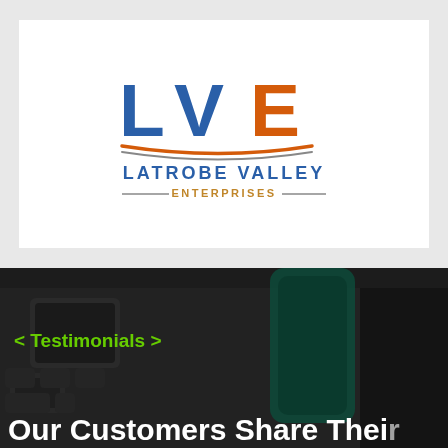[Figure (logo): Latrobe Valley Enterprises logo featuring large blue 'LV' and orange 'E' letters with swoosh underlines, and text 'LATROBE VALLEY' in blue with 'ENTERPRISES' in orange below]
[Figure (photo): Dark background with out-of-focus image of a laptop/keyboard device, with green bold text '< Testimonials >' overlaid and partial white text 'Our Customers Share Thei' at the bottom]